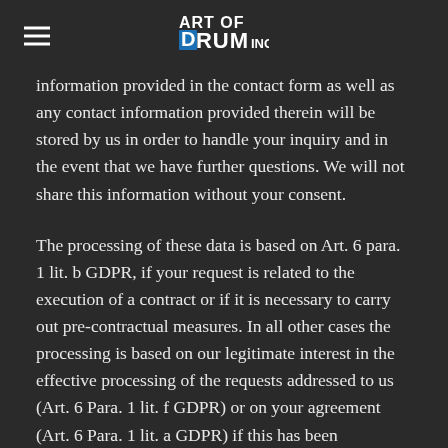Art of Drumming
information provided in the contact form as well as any contact information provided therein will be stored by us in order to handle your inquiry and in the event that we have further questions. We will not share this information without your consent.
The processing of these data is based on Art. 6 para. 1 lit. b GDPR, if your request is related to the execution of a contract or if it is necessary to carry out pre-contractual measures. In all other cases the processing is based on our legitimate interest in the effective processing of the requests addressed to us (Art. 6 Para. 1 lit. f GDPR) or on your agreement (Art. 6 Para. 1 lit. a GDPR) if this has been requested.
The information you have entered into the contact form shall remain with us until you ask us to eradicate the data, revoke your consent to the archiving of data or if the purpose for which the information is being archived no longer exists (e.g. after...